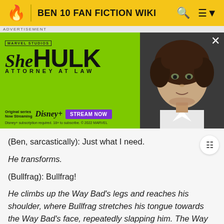BEN 10 FAN FICTION WIKI
[Figure (screenshot): She-Hulk: Attorney at Law advertisement banner on green background with Marvel Studios branding, Disney+ Original series, Stream Now button, and photo of actress]
(Ben, sarcastically): Just what I need.
He transforms.
(Bullfrag): Bullfrag!
He climbs up the Way Bad's legs and reaches his shoulder, where Bullfrag stretches his tongue towards the Way Bad's face, repeatedly slapping him. The Way Bad loses